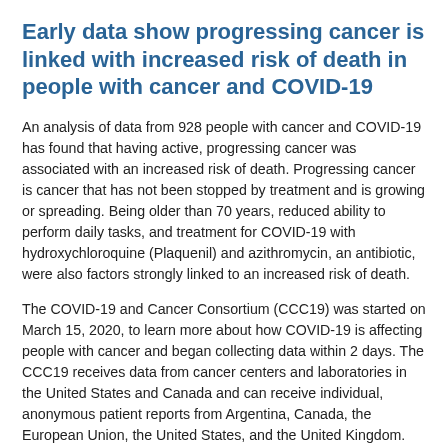Early data show progressing cancer is linked with increased risk of death in people with cancer and COVID-19
An analysis of data from 928 people with cancer and COVID-19 has found that having active, progressing cancer was associated with an increased risk of death. Progressing cancer is cancer that has not been stopped by treatment and is growing or spreading. Being older than 70 years, reduced ability to perform daily tasks, and treatment for COVID-19 with hydroxychloroquine (Plaquenil) and azithromycin, an antibiotic, were also factors strongly linked to an increased risk of death.
The COVID-19 and Cancer Consortium (CCC19) was started on March 15, 2020, to learn more about how COVID-19 is affecting people with cancer and began collecting data within 2 days. The CCC19 receives data from cancer centers and laboratories in the United States and Canada and can receive individual, anonymous patient reports from Argentina, Canada, the European Union, the United States, and the United Kingdom.
Half of the patients in this study were white, while 16% were black, 16% were Hispanic, and 15% were other races and ethnicities. The most common types of cancer in this group were